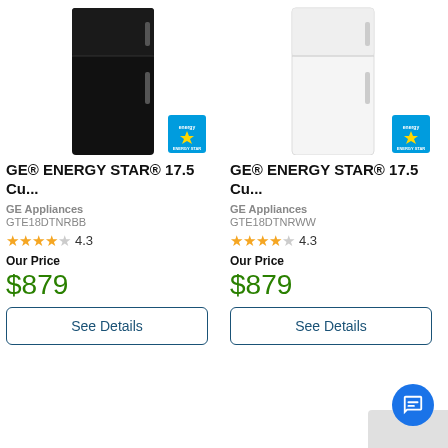[Figure (photo): Black GE top-freezer refrigerator with Energy Star badge]
GE® ENERGY STAR® 17.5 Cu...
GE Appliances
GTE18DTNRBB
★★★★☆ 4.3
Our Price
$879
See Details
[Figure (photo): White GE top-freezer refrigerator with Energy Star badge]
GE® ENERGY STAR® 17.5 Cu...
GE Appliances
GTE18DTNRWW
★★★★☆ 4.3
Our Price
$879
See Details